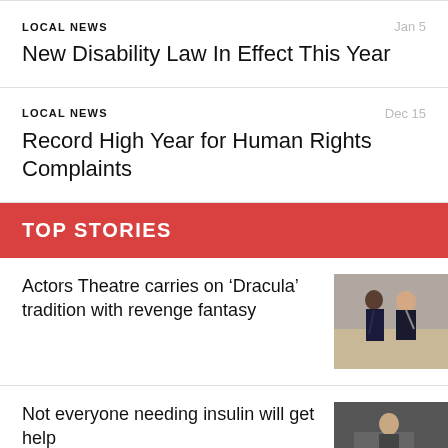LOCAL NEWS
Jan 5
New Disability Law In Effect This Year
LOCAL NEWS
Dec 15
Record High Year for Human Rights Complaints
TOP STORIES
Actors Theatre carries on ‘Dracula’ tradition with revenge fantasy
[Figure (photo): Two people in a room, one appears to be gesturing upward]
Not everyone needing insulin will get help
[Figure (photo): Person at what appears to be a desk or medical setting]